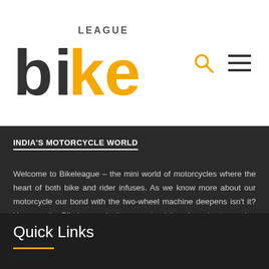[Figure (logo): Bike League logo — 'bike' in large dark and orange stylized letters with 'LEAGUE' in small caps above the 'ke' portion]
INDIA'S MOTORCYCLE WORLD
Welcome to Bikeleague – the mini world of motorcycles where the heart of both bike and rider infuses. As we know more about our motorcycle our bond with the two-wheel machine deepens isn't it? Yes exactly. Bikeleague invites you to delve deep by traversing through a wide range of countless articles, news, photos, videos right here.
Quick Links